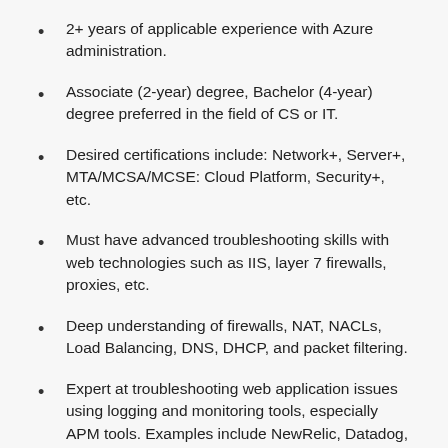2+ years of applicable experience with Azure administration.
Associate (2-year) degree, Bachelor (4-year) degree preferred in the field of CS or IT.
Desired certifications include: Network+, Server+, MTA/MCSA/MCSE: Cloud Platform, Security+, etc.
Must have advanced troubleshooting skills with web technologies such as IIS, layer 7 firewalls, proxies, etc.
Deep understanding of firewalls, NAT, NACLs, Load Balancing, DNS, DHCP, and packet filtering.
Expert at troubleshooting web application issues using logging and monitoring tools, especially APM tools. Examples include NewRelic, Datadog, Nagios, Solarwinds, Dynatrace, Retrace, Site24x7, Azure Application Insights, Azure Log Analytics, Splunk, etc.
Microsoft product expert including, Windows Server